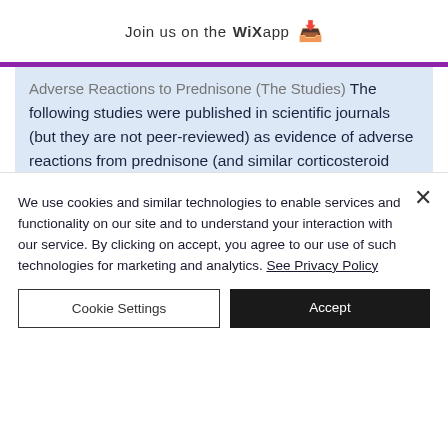Join us on the WiX app ↓
...Adverse Reactions to Prednisone (The Studies) The following studies were published in scientific journals (but they are not peer-reviewed) as evidence of adverse reactions from prednisone (and similar corticosteroid medication). The adverse reaction profile for these studies is described below, where can i get needles for steroids. Most of the adverse reaction profiles are related to weight gain, where can you get legal steroids. Other adverse reactions can
We use cookies and similar technologies to enable services and functionality on our site and to understand your interaction with our service. By clicking on accept, you agree to our use of such technologies for marketing and analytics. See Privacy Policy